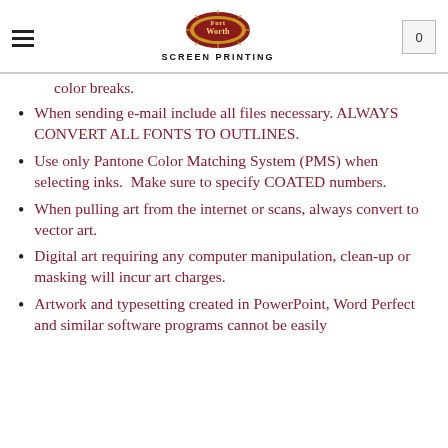Fort Worth Screen Printing
color breaks.
When sending e-mail include all files necessary. ALWAYS CONVERT ALL FONTS TO OUTLINES.
Use only Pantone Color Matching System (PMS) when selecting inks.  Make sure to specify COATED numbers.
When pulling art from the internet or scans, always convert to vector art.
Digital art requiring any computer manipulation, clean-up or masking will incur art charges.
Artwork and typesetting created in PowerPoint, Word Perfect and similar software programs cannot be easily